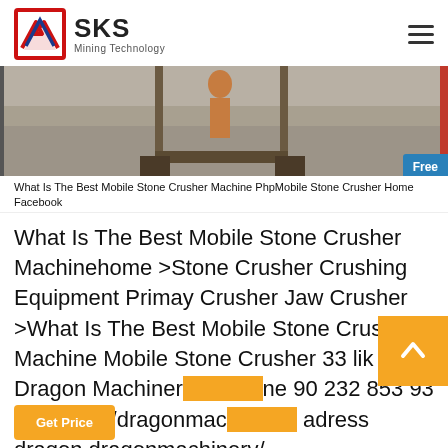SKS Mining Technology
[Figure (photo): Photo of a mobile stone crusher machine on gravel ground, with structural metal frame visible and a red vertical strip on the right edge.]
What Is The Best Mobile Stone Crusher Machine PhpMobile Stone Crusher Home Facebook
What Is The Best Mobile Stone Crusher Machinehome >Stone Crusher Crushing Equipment Primay Crusher Jaw Crusher >What Is The Best Mobile Stone Crusher Machine Mobile Stone Crusher 33 lik Dragon Machinery Phone 90 232 853 93 73 / https /dragonmachinery/ adress dragon dragonmachinery/
Get Price